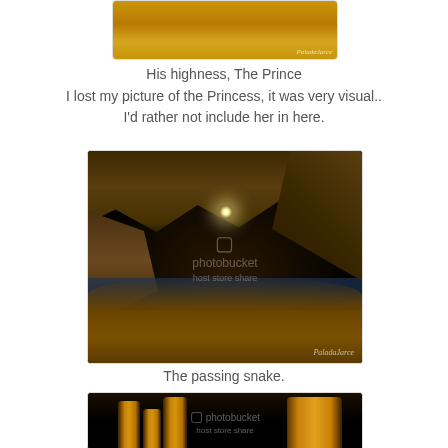[Figure (photo): Top portion of a photo showing golden/orange rocky cave surface with a photographer watermark in the bottom right]
His highness, The Prince
I lost my picture of the Princess, it was very visual..
I'd rather not include her in here.
[Figure (photo): Interior of a dark cave with stalactites/stalagmites, a pool of water, glowing light source, and Photobucket watermark overlay. PaladaJare photographer watermark in bottom right.]
The passing snake.
[Figure (photo): Dark cave interior showing tall golden-lit stalagmite columns with Photobucket watermark overlay.]